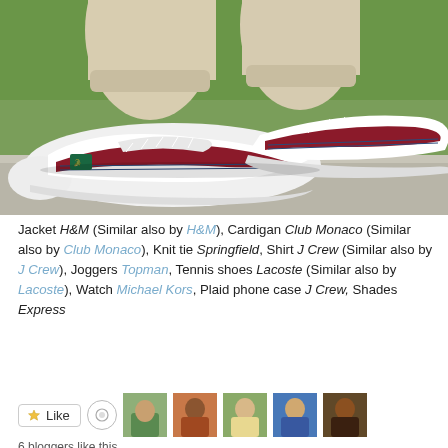[Figure (photo): Close-up photo of a person wearing white Lacoste tennis sneakers with dark red/maroon stripe accents and Lacoste logo, paired with light beige/khaki jogger pants. Person is standing on a concrete ledge with green grass in the background.]
Jacket H&M (Similar also by H&M), Cardigan Club Monaco (Similar also by Club Monaco), Knit tie Springfield, Shirt J Crew (Similar also by J Crew), Joggers Topman, Tennis shoes Lacoste (Similar also by Lacoste), Watch Michael Kors, Plaid phone case J Crew, Shades Express
[Figure (other): Like button, share/reblog circle button, and six small avatar thumbnails of bloggers who liked this post. Below: text reading '6 bloggers like this.']